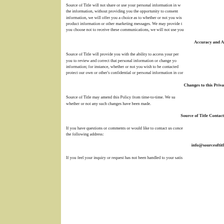Source of Title will not share or use your personal information in ways beyond those described, without providing you the opportunity to consent to such use. For certain personal information, we will offer you a choice as to whether or not you wish to receive product information or other marketing messages. We may provide this option via e-mail. If you choose not to receive these communications, we will not use your information for this purpose.
Accuracy and A
Source of Title will provide you with the ability to access your personal information and allow you to review and correct that personal information or change your preferences for use of that information; for instance, whether or not you wish to be contacted by us. We reserve the right to protect our own or other's confidential or personal information in connection with such a request.
Changes to this Priva
Source of Title may amend this Policy from time-to-time. We suggest you periodically check whether or not any such changes have been made.
Source of Title Contact
If you have questions or comments or would like to contact us concerning this Policy, please write to the following address:
info@sourceoftitl
If you feel your inquiry or request has not been handled to your satis